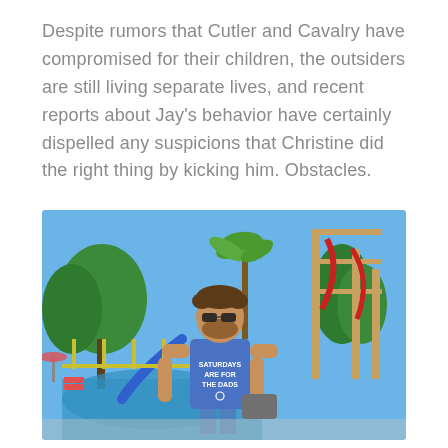Despite rumors that Cutler and Cavalry have compromised for their children, the outsiders are still living separate lives, and recent reports about Jay's behavior have certainly dispelled any suspicions that Christine did the right thing by kicking him. Obstacles.
[Figure (photo): A man wearing a blue t-shirt that reads 'SATURDAYS ARE FOR THE DADS' standing at a tropical water park with palm trees, pool, water slides, and a wooden adventure structure in the background on a sunny day.]